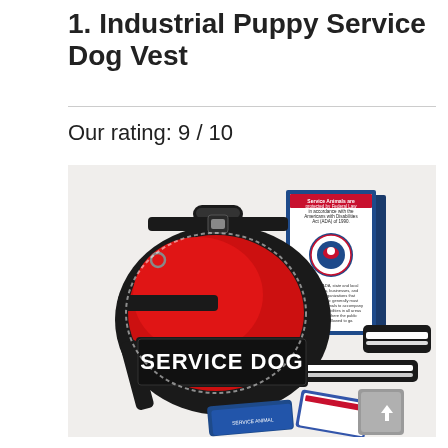1. Industrial Puppy Service Dog Vest
Our rating: 9 / 10
[Figure (photo): Photo of a red and black Industrial Puppy Service Dog Vest with black 'SERVICE DOG' patches, reflective strips, handle on top, and accompanying informational booklet and patches. The vest is displayed with its accessories.]